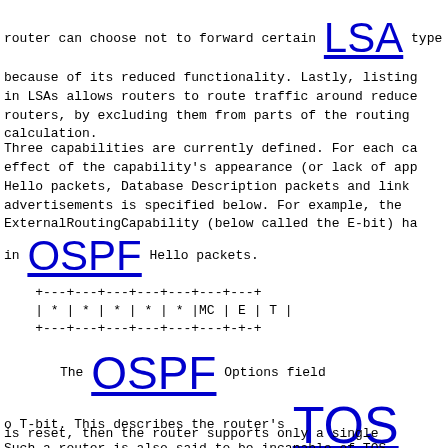router can choose not to forward certain LSA type because of its reduced functionality. Lastly, listing in LSAs allows routers to route traffic around reduce routers, by excluding them from parts of the routing calculation.
Three capabilities are currently defined. For each ca effect of the capability's appearance (or lack of app Hello packets, Database Description packets and link advertisements is specified below. For example, the ExternalRoutingCapability (below called the E-bit) ha
in OSPF Hello packets.
[Figure (other): ASCII art table showing OSPF Options field: +---+---+---+---+---+---+---+ | * | * | * | * | * |MC | E | T | +---+---+---+---+---+---+-+-+]
The OSPF Options field
o   T-bit. This describes the router's TOS capabi
is reset, then the router supports only a single
Such a router is also said to be incapable of TOS